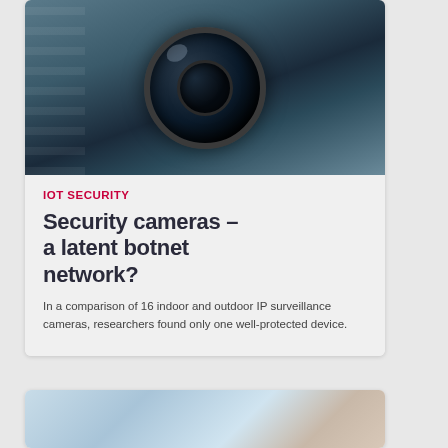[Figure (photo): Close-up photograph of a black security camera lens mounted on a surface, with building reflections visible in the lens glass. Striped pattern visible on the left side.]
IOT SECURITY
Security cameras – a latent botnet network?
In a comparison of 16 indoor and outdoor IP surveillance cameras, researchers found only one well-protected device.
[Figure (photo): Partial view of a light blue blurred background with what appears to be a hand or medical device in the lower right.]